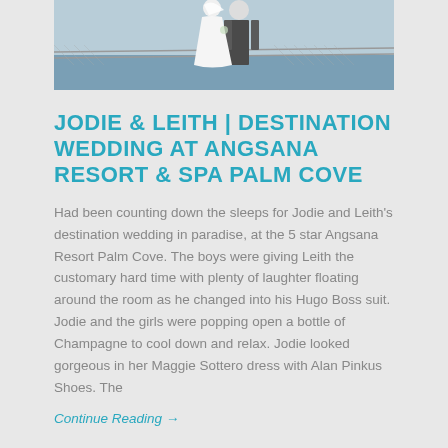[Figure (photo): Wedding photo of bride in white dress and groom in dark suit standing by a fence near the ocean]
JODIE & LEITH | DESTINATION WEDDING AT ANGSANA RESORT & SPA PALM COVE
Had been counting down the sleeps for Jodie and Leith's destination wedding in paradise, at the 5 star Angsana Resort Palm Cove. The boys were giving Leith the customary hard time with plenty of laughter floating around the room as he changed into his Hugo Boss suit. Jodie and the girls were popping open a bottle of Champagne to cool down and relax. Jodie looked gorgeous in her Maggie Sottero dress with Alan Pinkus Shoes. The
Continue Reading →